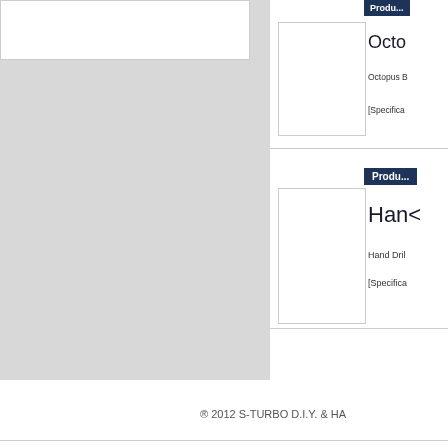[Figure (other): Product image placeholder box top-left white card]
[Figure (other): Product listing card: Octopus product with image placeholder, description and specifications text (truncated)]
[Figure (other): Product listing card: Hand Drill product with image placeholder, description and specifications text (truncated)]
® 2012 S-TURBO D.I.Y. & HA